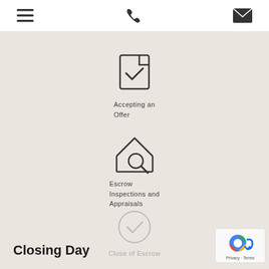Navigation bar with menu, phone, and email icons
[Figure (infographic): Checkbox icon with checkmark representing Accepting an Offer step]
Accepting an Offer
[Figure (infographic): House with magnifying glass icon representing Escrow Inspections and Appraisals step]
Escrow Inspections and Appraisals
[Figure (infographic): Circle with checkmark (muted/grey) representing Close of Escrow step]
Close of Escrow
Closing Day